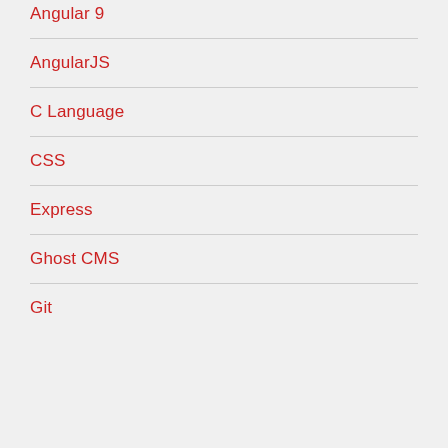Angular 9
AngularJS
C Language
CSS
Express
Ghost CMS
Git